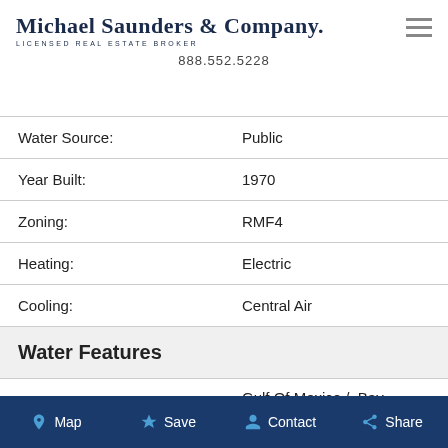Michael Saunders & Company. LICENSED REAL ESTATE BROKER 888.552.5228
| Water Source: | Public |
| Year Built: | 1970 |
| Zoning: | RMF4 |
| Heating: | Electric |
| Cooling: | Central Air |
Water Features
...
Map  Save  Contact  Share